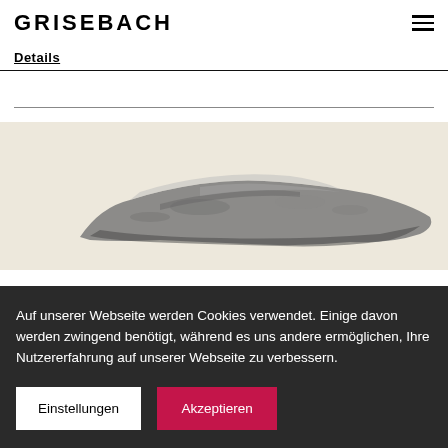GRISEBACH
Details
[Figure (photo): Photograph of a rock or stone object, black and white/sepia toned, on a light beige background]
Auf unserer Webseite werden Cookies verwendet. Einige davon werden zwingend benötigt, während es uns andere ermöglichen, Ihre Nutzererfahrung auf unserer Webseite zu verbessern.
Einstellungen
Akzeptieren